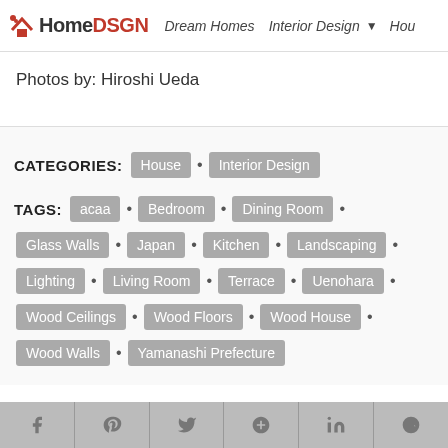HomeDSGN | Dream Homes | Interior Design
Photos by: Hiroshi Ueda
CATEGORIES: House • Interior Design
TAGS: acaa • Bedroom • Dining Room • Glass Walls • Japan • Kitchen • Landscaping • Lighting • Living Room • Terrace • Uenohara • Wood Ceilings • Wood Floors • Wood House • Wood Walls • Yamanashi Prefecture